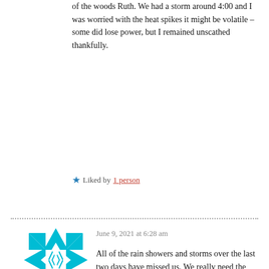of the woods Ruth. We had a storm around 4:00 and I was worried with the heat spikes it might be volatile – some did lose power, but I remained unscathed thankfully.
Liked by 1 person
[Figure (illustration): Teal geometric star/snowflake avatar icon for user ruthsoaper]
June 9, 2021 at 6:28 am
All of the rain showers and storms over the last two days have missed us. We really need the rain perhaps today is our day.
Liked by 1 person